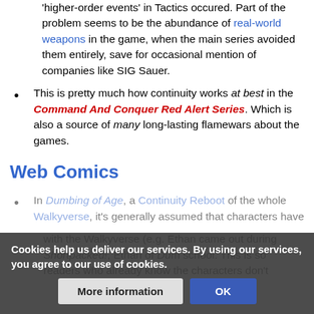'higher-order events' in Tactics occured. Part of the problem seems to be the abundance of real-world weapons in the game, when the main series avoided them entirely, save for occasional mention of companies like SIG Sauer.
This is pretty much how continuity works at best in the Command And Conquer Red Alert Series. Which is also a source of many long-lasting flamewars about the games.
Web Comics
In Dumbing of Age, a Continuity Reboot of the whole Walkyverse, it's generally assumed that characters have [...] with the Walkyverse (e.g. Ethan came out during Shortpacked!, Ethan of Dum[bing of Age] school. This is so readers who already know the characters don't
Cookies help us deliver our services. By using our services, you agree to our use of cookies.